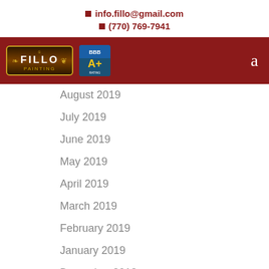info.fillo@gmail.com
(770) 769-7941
[Figure (logo): Fillo Painting logo with ornamental border and BBB A+ rating badge, on dark red navigation bar]
August 2019
July 2019
June 2019
May 2019
April 2019
March 2019
February 2019
January 2019
December 2018
November 2018
October 2018